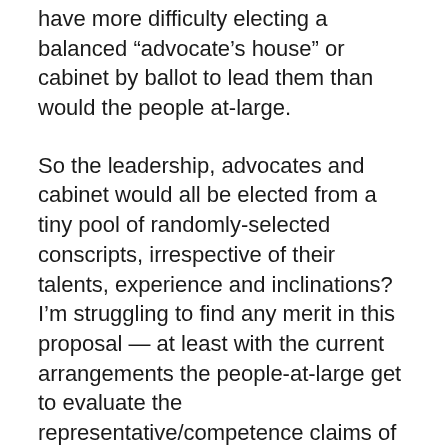have more difficulty electing a balanced “advocate’s house” or cabinet by ballot to lead them than would the people at-large.
So the leadership, advocates and cabinet would all be elected from a tiny pool of randomly-selected conscripts, irrespective of their talents, experience and inclinations? I’m struggling to find any merit in this proposal — at least with the current arrangements the people-at-large get to evaluate the representative/competence claims of candidates who choose to put themselves forward.
Perhaps I’ve misunderstood you and what you are proposing is choosing electors by sortition (who would then act as informed proxies for the